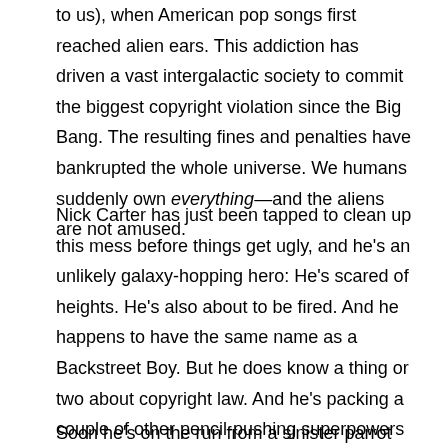to us), when American pop songs first reached alien ears. This addiction has driven a vast intergalactic society to commit the biggest copyright violation since the Big Bang. The resulting fines and penalties have bankrupted the whole universe. We humans suddenly own everything—and the aliens are not amused.
Nick Carter has just been tapped to clean up this mess before things get ugly, and he's an unlikely galaxy-hopping hero: He's scared of heights. He's also about to be fired. And he happens to have the same name as a Backstreet Boy. But he does know a thing or two about copyright law. And he's packing a couple of other pencil-pushing superpowers that could come in handy.
Soon he's on the run from a sinister parrot and a highly